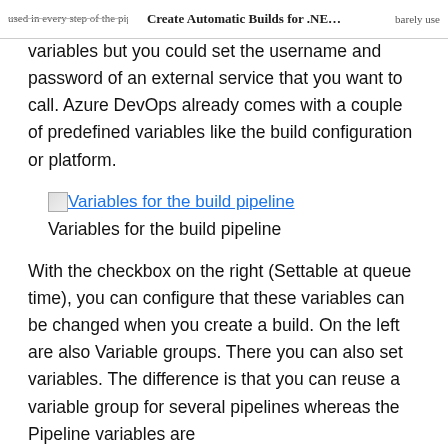used in every step of the pipeline. For builds I barely use | Create Automatic Builds for .NE... | barely use
variables but you could set the username and password of an external service that you want to call. Azure DevOps already comes with a couple of predefined variables like the build configuration or platform.
[Figure (screenshot): Broken image icon followed by blue hyperlink text: 'Variables for the build pipeline']
Variables for the build pipeline
With the checkbox on the right (Settable at queue time), you can configure that these variables can be changed when you create a build. On the left are also Variable groups. There you can also set variables. The difference is that you can reuse a variable group for several pipelines whereas the Pipeline variables are